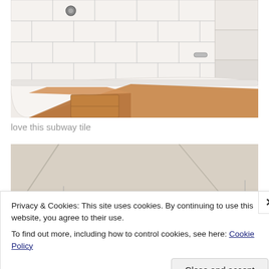[Figure (photo): Bathroom with white subway tile walls and a white bathtub containing flattened cardboard boxes. A chrome faucet fixture is visible on the wall.]
love this subway tile
[Figure (photo): Partial view of a room with beige/tan walls, partially obscured by cookie consent banner.]
Privacy & Cookies: This site uses cookies. By continuing to use this website, you agree to their use.
To find out more, including how to control cookies, see here: Cookie Policy
Close and accept